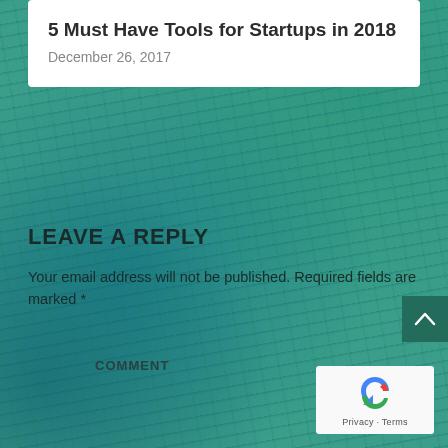5 Must Have Tools for Startups in 2018
December 26, 2017
LEAVE A REPLY
Your email address will not be published. Required fields are marked *
COMMENT